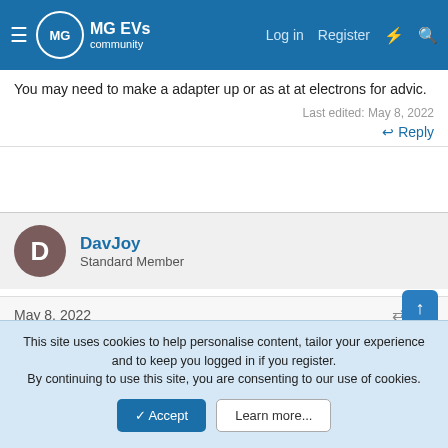MG EVs community — Log in | Register
You may need to make a adapter up or as at at electrons for advic.
Last edited: May 8, 2022
↩ Reply
DavJoy
Standard Member
May 8, 2022    #5
Thanks once more. Much appreciated advice. 👍
↩ Reply
This site uses cookies to help personalise content, tailor your experience and to keep you logged in if you register.
By continuing to use this site, you are consenting to our use of cookies.
✓ Accept   Learn more...